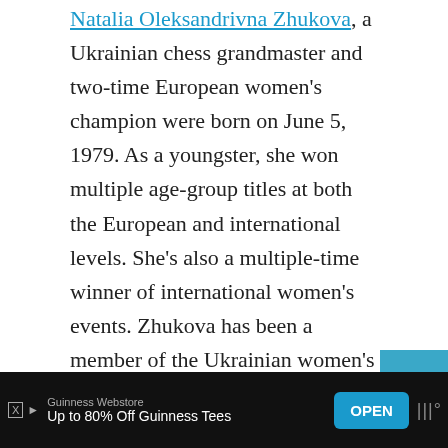Natalia Oleksandrivna Zhukova, a Ukrainian chess grandmaster and two-time European women's champion were born on June 5, 1979. As a youngster, she won multiple age-group titles at both the European and international levels. She's also a multiple-time winner of international women's events. Zhukova has been a member of the Ukrainian women's national team since she was 17 years old when she won the Ukrainian women's championship for the first time. In addition, she was a member of Ukraine's winning team at the 2006 Women's Chess Olympiad.
[Figure (screenshot): Ad banner: Guinness Webstore — Up to 80% Off Guinness Tees, with OPEN button]